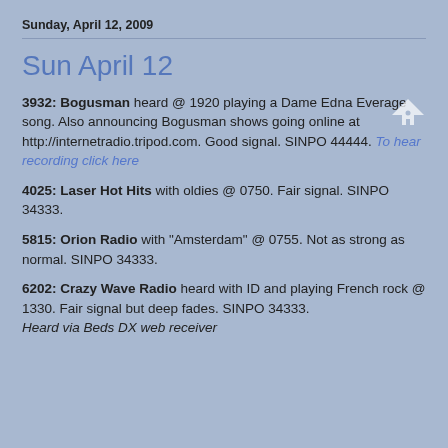Sunday, April 12, 2009
Sun April 12
3932: Bogusman heard @ 1920 playing a Dame Edna Everage song. Also announcing Bogusman shows going online at http://internetradio.tripod.com. Good signal. SINPO 44444. To hear recording click here
4025: Laser Hot Hits with oldies @ 0750. Fair signal. SINPO 34333.
5815: Orion Radio with "Amsterdam" @ 0755. Not as strong as normal. SINPO 34333.
6202: Crazy Wave Radio heard with ID and playing French rock @ 1330. Fair signal but deep fades. SINPO 34333. Heard via Beds DX web receiver